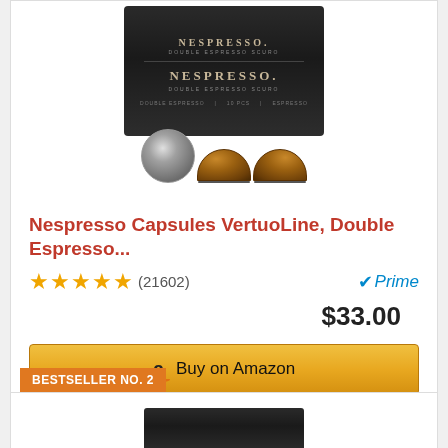[Figure (photo): Nespresso VertuoLine Double Espresso box (dark packaging) with two bronze/brown coffee capsules in front]
Nespresso Capsules VertuoLine, Double Espresso...
★★★★★ (21602) — Prime — $33.00
Buy on Amazon
BESTSELLER NO. 2
[Figure (photo): Partial view of a second Nespresso product (Bestseller No. 2), showing top of dark box packaging]